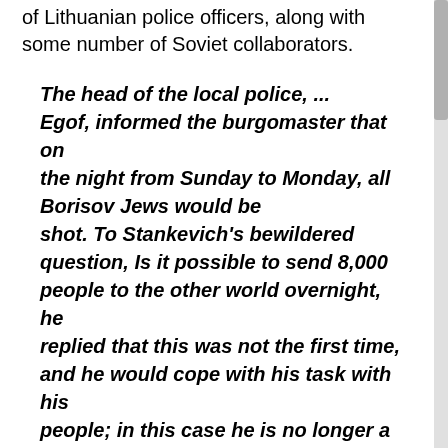of Lithuanian police officers, along with some number of Soviet collaborators.
The head of the local police, ... Egof, informed the burgomaster that on the night from Sunday to Monday, all Borisov Jews would be shot. To Stankevich's bewildered question, Is it possible to send 8,000 people to the other world overnight, he replied that this was not the first time, and he would cope with his task with his people; in this case he is no longer a layman